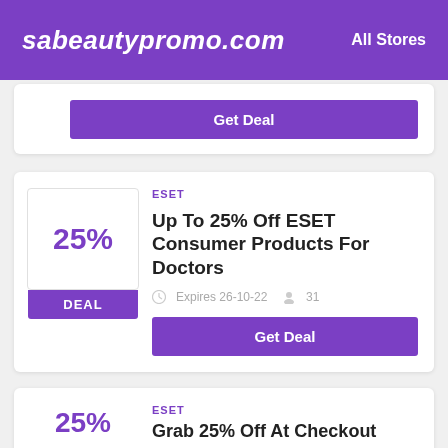sabeautypromo.com  All Stores
Get Deal
ESET
Up To 25% Off ESET Consumer Products For Doctors
Expires 26-10-22  31
Get Deal
ESET
Grab 25% Off At Checkout